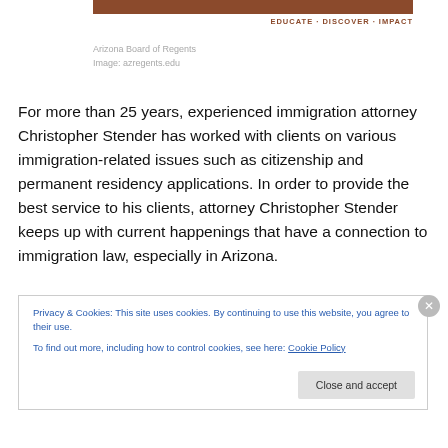[Figure (illustration): Arizona Board of Regents banner image with brown/terracotta header bar and tagline EDUCATE · DISCOVER · IMPACT]
Arizona Board of Regents
Image: azregents.edu
For more than 25 years, experienced immigration attorney Christopher Stender has worked with clients on various immigration-related issues such as citizenship and permanent residency applications. In order to provide the best service to his clients, attorney Christopher Stender keeps up with current happenings that have a connection to immigration law, especially in Arizona.
Privacy & Cookies: This site uses cookies. By continuing to use this website, you agree to their use.
To find out more, including how to control cookies, see here: Cookie Policy